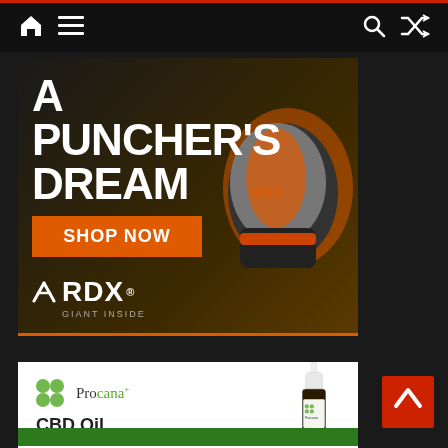Navigation bar with home, menu, search, shuffle icons
[Figure (illustration): RDX boxing gloves advertisement banner. Text reads 'A PUNCHER'S DREAM' in large white bold font, orange 'SHOP NOW' button, RDX logo with 'GIANT INSIDE' tagline, image of orange/black boxing gloves on dark background with orange bottom border.]
[Figure (illustration): Procana CBD Oil advertisement banner. Shows Procana logo with green dots, 'CBD Oil' text, and a dropper bottle on white background with green bar at bottom.]